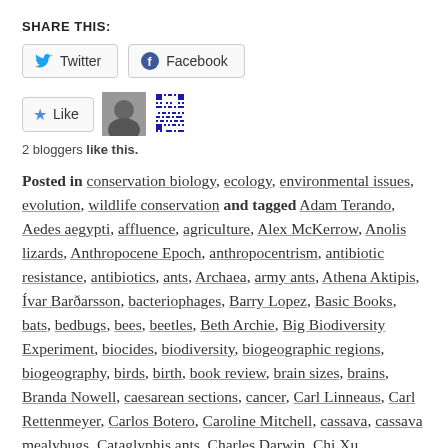SHARE THIS:
[Figure (infographic): Share buttons for Twitter and Facebook, and a Like button with avatar images and QR pattern. Text: 2 bloggers like this.]
Posted in conservation biology, ecology, environmental issues, evolution, wildlife conservation and tagged Adam Terando, Aedes aegypti, affluence, agriculture, Alex McKerrow, Anolis lizards, Anthropocene Epoch, anthropocentrism, antibiotic resistance, antibiotics, ants, Archaea, army ants, Athena Aktipis, Ívar Barðarsson, bacteriophages, Barry Lopez, Basic Books, bats, bedbugs, bees, beetles, Beth Archie, Big Biodiversity Experiment, biocides, biodiversity, biogeographic regions, biogeography, birds, birth, book review, brain sizes, brains, Branda Nowell, caesarean sections, cancer, Carl Linneaus, Carl Rettenmeyer, Carlos Botero, Caroline Mitchell, cassava, cassava mealybugs, Cataglyphis ants, Charles Darwin, Chi Xu, childbirth, cities, climate change, climate niches,